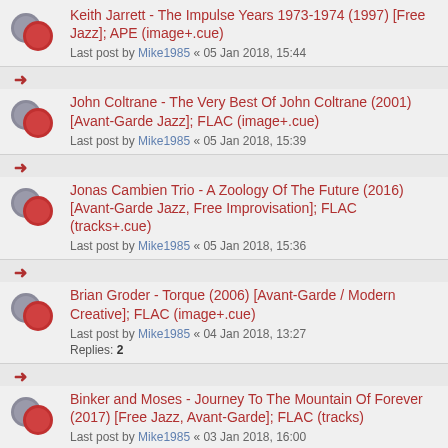Keith Jarrett - The Impulse Years 1973-1974 (1997) [Free Jazz]; APE (image+.cue)
Last post by Mike1985 « 05 Jan 2018, 15:44
John Coltrane - The Very Best Of John Coltrane (2001) [Avant-Garde Jazz]; FLAC (image+.cue)
Last post by Mike1985 « 05 Jan 2018, 15:39
Jonas Cambien Trio - A Zoology Of The Future (2016) [Avant-Garde Jazz, Free Improvisation]; FLAC (tracks+.cue)
Last post by Mike1985 « 05 Jan 2018, 15:36
Brian Groder - Torque (2006) [Avant-Garde / Modern Creative]; FLAC (image+.cue)
Last post by Mike1985 « 04 Jan 2018, 13:27
Replies: 2
Binker and Moses - Journey To The Mountain Of Forever (2017) [Free Jazz, Avant-Garde]; FLAC (tracks)
Last post by Mike1985 « 03 Jan 2018, 16:00